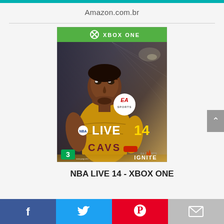Amazon.com.br
[Figure (photo): NBA Live 14 Xbox One game cover showing a basketball player wearing a Cavaliers jersey, with EA Sports logo, NBA Live 14 branding, PEGI 3 rating, and EA Sports Ignite logo]
NBA LIVE 14 - XBOX ONE